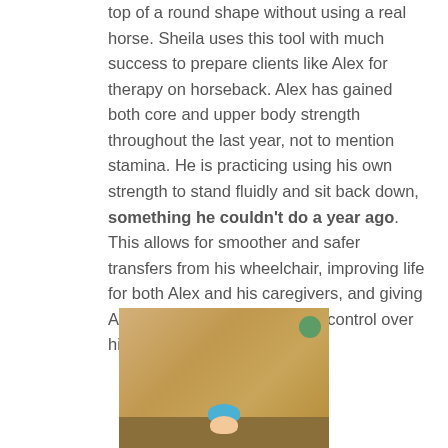top of a round shape without using a real horse. Sheila uses this tool with much success to prepare clients like Alex for therapy on horseback. Alex has gained both core and upper body strength throughout the last year, not to mention stamina. He is practicing using his own strength to stand fluidly and sit back down, something he couldn't do a year ago. This allows for smoother and safer transfers from his wheelchair, improving life for both Alex and his caregivers, and giving Alex more independence and control over his life.
[Figure (photo): A person wearing a blue helmet visible from the chest up, standing in front of a wooden wall background in what appears to be a therapy or barn setting.]